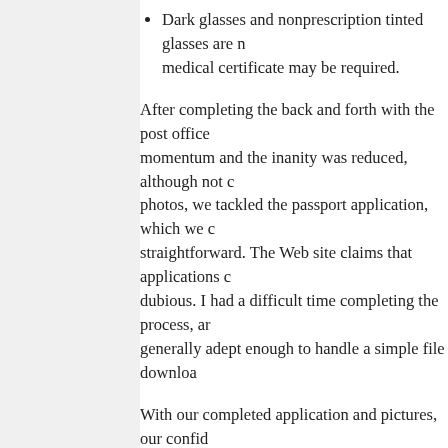Dark glasses and nonprescription tinted glasses are not allowed unless a medical certificate may be required.
After completing the back and forth with the post office momentum and the inanity was reduced, although not c photos, we tackled the passport application, which we c straightforward. The Web site claims that applications c dubious. I had a difficult time completing the process, ar generally adept enough to handle a simple file downloa
With our completed application and pictures, our confd would be joining us on the trip, and we would not have t this stage, the website again proved valuable as Beth an Proof of citizenship for child and parent was a prerequis citizenship, another visit to a government building was c birth certificate, which is the most logical document to u certificate for their children face further hurdles and adc were able to prove our own citizenship by providing one valid and official U.S. Military ID, valid U.S. government